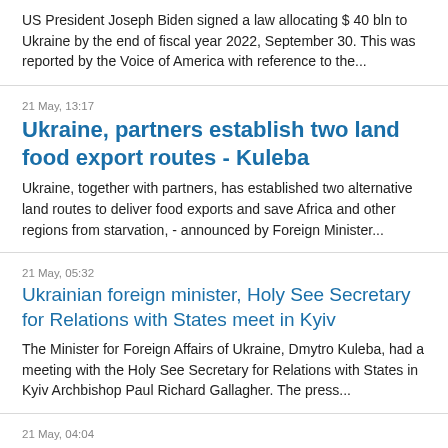US President Joseph Biden signed a law allocating $ 40 bln to Ukraine by the end of fiscal year 2022, September 30. This was reported by the Voice of America with reference to the...
21 May, 13:17
Ukraine, partners establish two land food export routes - Kuleba
Ukraine, together with partners, has established two alternative land routes to deliver food exports and save Africa and other regions from starvation, - announced by Foreign Minister...
21 May, 05:32
Ukrainian foreign minister, Holy See Secretary for Relations with States meet in Kyiv
The Minister for Foreign Affairs of Ukraine, Dmytro Kuleba, had a meeting with the Holy See Secretary for Relations with States in Kyiv Archbishop Paul Richard Gallagher. The press...
21 May, 04:04
Spiegel: Ukraine to receive first Cheetah tanks